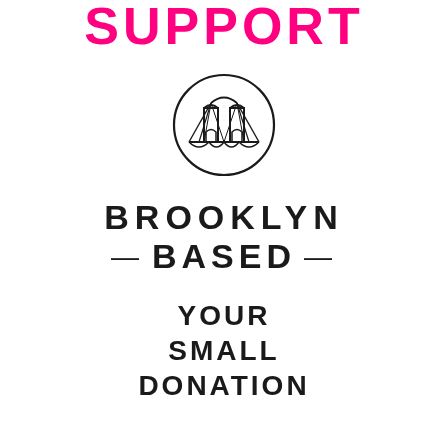SUPPORT
[Figure (logo): Brooklyn Based logo: a circular outline containing a stylized illustration of the Brooklyn Bridge with arched towers and suspension cables, rendered in thin black lines.]
BROOKLYN
— BASED —
YOUR
SMALL
DONATION